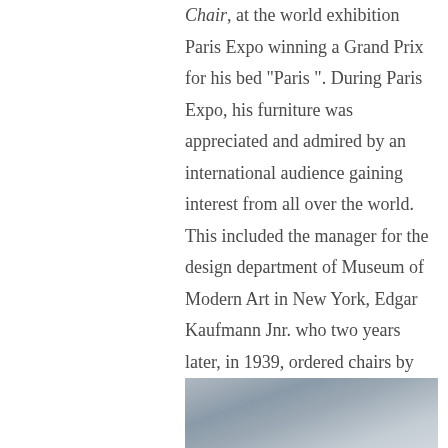Chair, at the world exhibition Paris Expo winning a Grand Prix for his bed "Paris ". During Paris Expo, his furniture was appreciated and admired by an international audience gaining interest from all over the world. This included the manager for the design department of Museum of Modern Art in New York, Edgar Kaufmann Jnr. who two years later, in 1939, ordered chairs by Bruno Mathsson for a new extension of the museum. The Eva Chair, (which was then called the Work Chair) designed in 1934 for Firma Karl Mathsson, was purchased for the public spaces of the MOMA.
[Figure (photo): A partially visible photograph with grey/silver tones, likely showing furniture or an interior scene.]